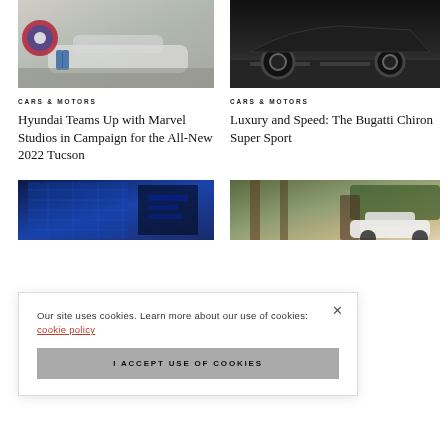[Figure (photo): Captain America shield and person beside Hyundai Tucson SUV]
[Figure (photo): Black Bugatti Chiron Super Sport on dark wet road]
CARS & MOTORS
Hyundai Teams Up with Marvel Studios in Campaign for the All-New 2022 Tucson
CARS & MOTORS
Luxury and Speed: The Bugatti Chiron Super Sport
[Figure (photo): Blue tech building with grid facade, dark background]
[Figure (photo): White Bugatti Chiron in a wooded driveway with hedges]
Our site uses cookies. Learn more about our use of cookies: cookie policy
I ACCEPT USE OF COOKIES